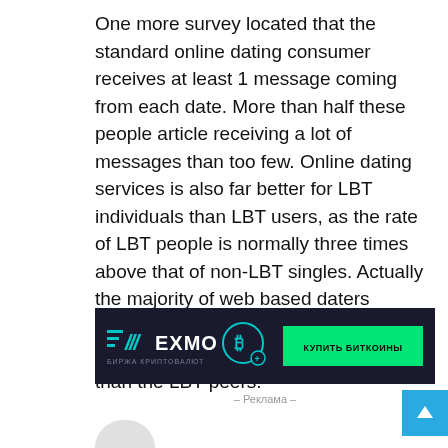One more survey located that the standard online dating consumer receives at least 1 message coming from each date. More than half these people article receiving a lot of messages than too few. Online dating services is also far better for LBT individuals than LBT users, as the rate of LBT people is normally three times above that of non-LBT singles. Actually the majority of web based daters imagine online dating can be as successful or perhaps more fortunate than the LBT peers.
[Figure (other): EXMO cryptocurrency exchange advertisement banner with dark background, EXMO logo with teal lines and slashes, Bitcoin coin icon, and green 'КУПИТЬ БИТКОИНЫ' (Buy Bitcoins) button. Subtitle reads 'БИРЖА КРИПТОВАЛЮТ' (Cryptocurrency Exchange).]
– Реклама –